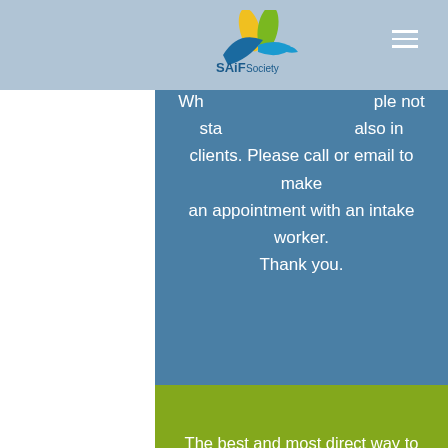[Figure (screenshot): SAIF Society website screenshot showing navigation header with logo and hamburger menu, blue section with text about calling or emailing for appointment, green section with text about services and informed consent, and yellow footer with back-to-top button]
While walk-ins we are simple not able to the we also in clients. Please call or email to make an appointment with an intake worker. Thank you.
The best and most direct way to access our services is to call or email us. We do require informed consent which we share with you during our intake process.